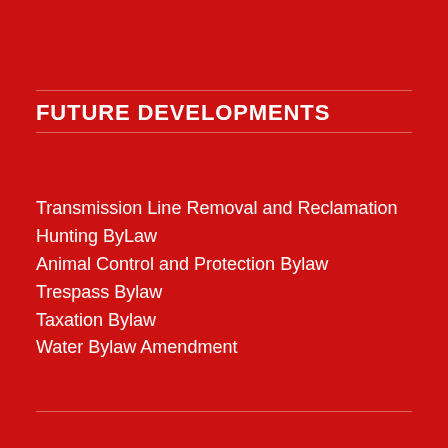FUTURE DEVELOPMENTS
Transmission Line Removal and Reclamation
Hunting ByLaw
Animal Control and Protection Bylaw
Trespass Bylaw
Taxation Bylaw
Water Bylaw Amendment